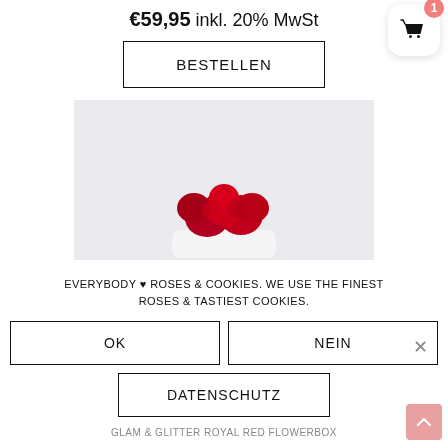€59,95 inkl. 20% MwSt
BESTELLEN
[Figure (photo): Red roses in a white round box on a light grey background]
EVERYBODY ♥ ROSES & COOKIES. WE USE THE FINEST ROSES & TASTIEST COOKIES.
OK
NEIN
DATENSCHUTZ
GLAM & GLITTER ROYAL RED FLOWERBOX